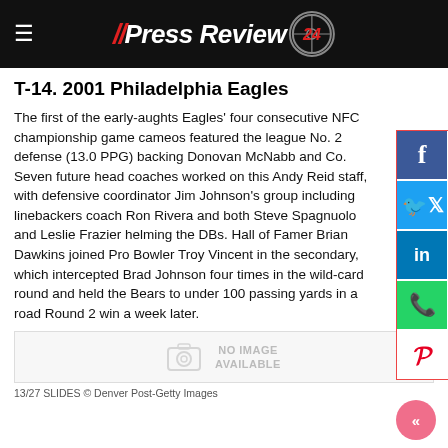PressReview 24
T-14. 2001 Philadelphia Eagles
The first of the early-aughts Eagles' four consecutive NFC championship game cameos featured the league No. 2 defense (13.0 PPG) backing Donovan McNabb and Co. Seven future head coaches worked on this Andy Reid staff, with defensive coordinator Jim Johnson's group including linebackers coach Ron Rivera and both Steve Spagnuolo and Leslie Frazier helming the DBs. Hall of Famer Brian Dawkins joined Pro Bowler Troy Vincent in the secondary, which intercepted Brad Johnson four times in the wild-card round and held the Bears to under 100 passing yards in a road Round 2 win a week later.
[Figure (photo): No image available placeholder box]
13/27 SLIDES © Denver Post-Getty Images